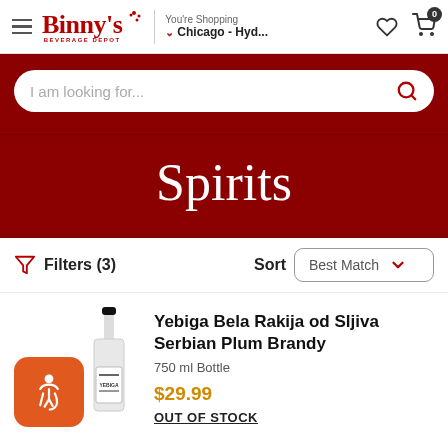Binny's Beverage Depot — You're Shopping Chicago - Hyd...
I am looking for...
Spirits
Filters (3)  Sort  Best Match
Yebiga Bela Rakija od Sljiva Serbian Plum Brandy
750 ml Bottle
$29.99
OUT OF STOCK